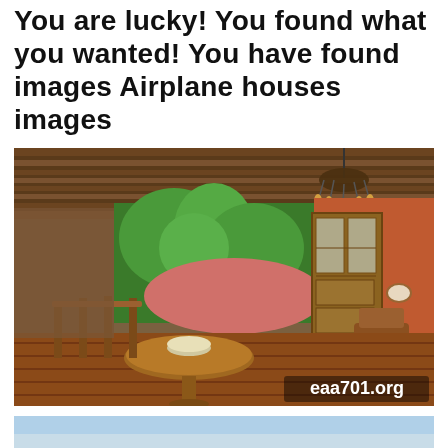You are lucky! You found what you wanted! You have found images Airplane houses images
[Figure (photo): Interior of an airplane house conversion showing a wooden deck/terrace with a round wooden table in the foreground, a wooden bookcase/cabinet, a wooden chair, an orange-painted curved airplane fuselage wall with oval windows, tropical palm trees visible outside, wooden beam ceiling with a chandelier, and a watermark 'eaa701.org' in the bottom right corner.]
[Figure (photo): Partial view of a second airplane house image, showing what appears to be a light blue sky or exterior shot, partially cropped at the bottom of the page.]